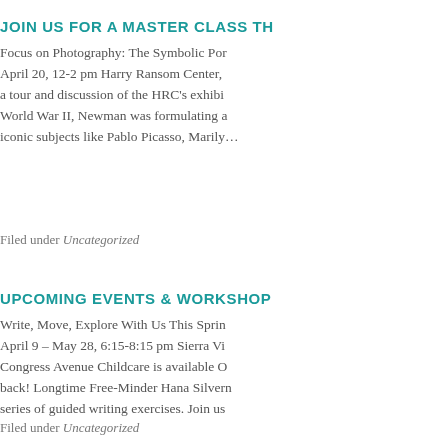JOIN US FOR A MASTER CLASS TH…
Focus on Photography: The Symbolic Por… April 20, 12-2 pm Harry Ransom Center, a tour and discussion of the HRC's exhibi… World War II, Newman was formulating a… iconic subjects like Pablo Picasso, Marily…
Filed under Uncategorized
UPCOMING EVENTS & WORKSHOP…
Write, Move, Explore With Us This Sprin… April 9 – May 28, 6:15-8:15 pm Sierra Vi… Congress Avenue Childcare is available O… back! Longtime Free-Minder Hana Silvern… series of guided writing exercises. Join us…
Filed under Uncategorized